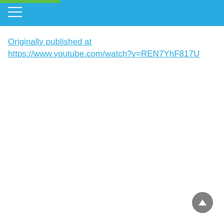Originally published at https://www.youtube.com/watch?v=REN7YhF817U